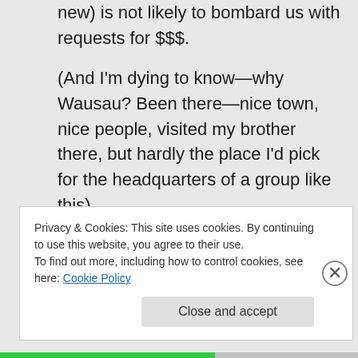new) is not likely to bombard us with requests for $$$.

(And I'm dying to know—why Wausau? Been there—nice town, nice people, visited my brother there, but hardly the place I'd pick for the headquarters of a group like this)
Privacy & Cookies: This site uses cookies. By continuing to use this website, you agree to their use.
To find out more, including how to control cookies, see here: Cookie Policy